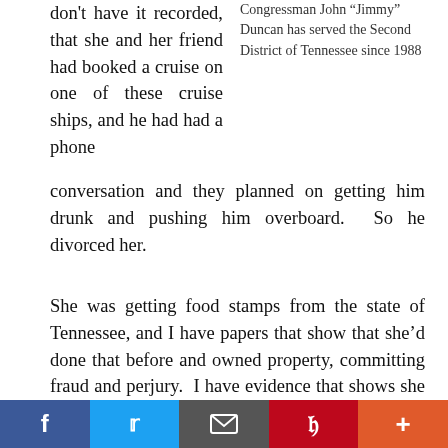don't have it recorded, that she and her friend had booked a cruise on one of these cruise ships, and he had had a phone conversation and they planned on getting him drunk and pushing him overboard.  So he divorced her.
Congressman John "Jimmy" Duncan has served the Second District of Tennessee since 1988
She was getting food stamps from the state of Tennessee, and I have papers that show that she'd done that before and owned property, committing fraud and perjury.  I have evidence that shows she actually did that, and she was telling me she didn't get any money and she was getting food stamps.  I have some of her affidavits which she got from her former husband, and it says in those affidavits that she was healthy and
f  t  [email]  p  +